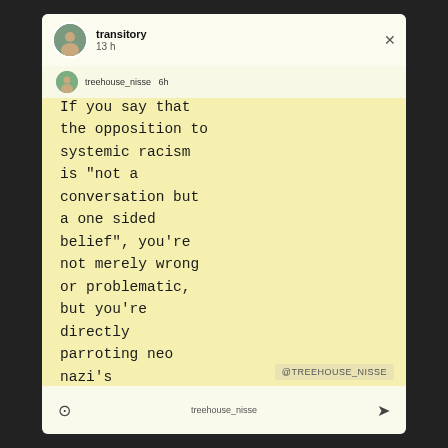[Figure (screenshot): Instagram story screenshot showing a repost by user 'transitory' (13h ago) of content from 'treehouse_nisse', featuring a light yellow background with typewriter-font text reading: 'If you say that the opposition to systemic racism is "not a conversation but a one sided belief", you're not merely wrong or problematic, but you're directly parroting neo nazi's'. A watermark '@TREEHOUSE_NISSE' appears at the bottom right.]